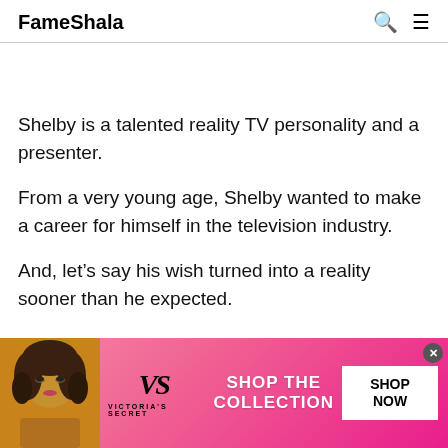FameShala
Shelby is a talented reality TV personality and a presenter.
From a very young age, Shelby wanted to make a career for himself in the television industry.
And, let’s say his wish turned into a reality sooner than he expected.
[Figure (infographic): Victoria's Secret advertisement banner with model photo, VS logo, 'SHOP THE COLLECTION' text, and 'SHOP NOW' button on pink gradient background]